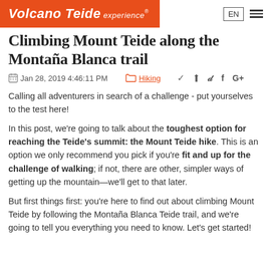Volcano Teide experience® | EN | menu
Climbing Mount Teide along the Montaña Blanca trail
Jan 28, 2019 4:46:11 PM  Hiking
Calling all adventurers in search of a challenge - put yourselves to the test here!
In this post, we're going to talk about the toughest option for reaching the Teide's summit: the Mount Teide hike. This is an option we only recommend you pick if you're fit and up for the challenge of walking; if not, there are other, simpler ways of getting up the mountain—we'll get to that later.
But first things first: you're here to find out about climbing Mount Teide by following the Montaña Blanca Teide trail, and we're going to tell you everything you need to know. Let's get started!